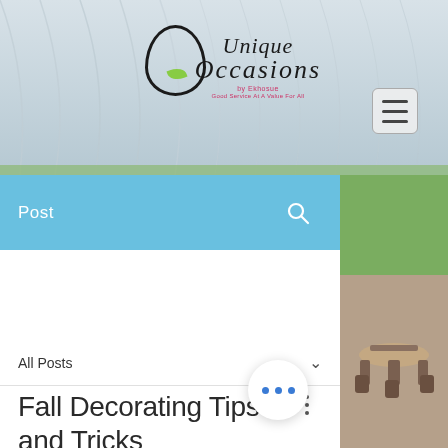[Figure (photo): Website header with draped white fabric tent background and logo for 'Unique Occasions by Ekhosue']
[Figure (photo): Right side outdoor venue photo showing tables with chairs and decorations]
Post
All Posts
Fall Decorating Tips and Tricks
Fall is in full force. The temperature is cooling, the leaves are changing, and the holiday season is fast approaching. Now is the time to make all your fall di...